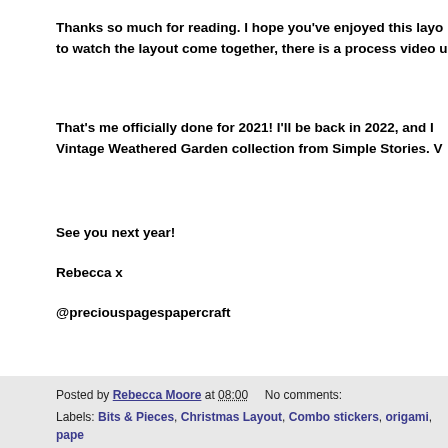Thanks so much for reading. I hope you've enjoyed this layo to watch the layout come together, there is a process video up
That's me officially done for 2021! I'll be back in 2022, and I Vintage Weathered Garden collection from Simple Stories. V
See you next year!
Rebecca x
@preciouspagespapercraft
Posted by Rebecca Moore at 08:00   No comments:
Labels: Bits & Pieces, Christmas Layout, Combo stickers, origami, pape